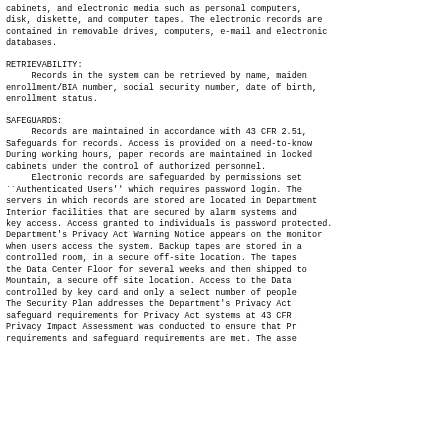cabinets, and electronic media such as personal computers, disk, diskette, and computer tapes. The electronic records are contained in removable drives, computers, e-mail and electronic databases.
RETRIEVABILITY:
Records in the system can be retrieved by name, maiden name, enrollment/BIA number, social security number, date of birth, and enrollment status.
SAFEGUARDS:
Records are maintained in accordance with 43 CFR 2.51, Safeguards for records. Access is provided on a need-to-know basis. During working hours, paper records are maintained in locked file cabinets under the control of authorized personnel. Electronic records are safeguarded by permissions set to ``Authenticated Users'' which requires password login. The servers in which records are stored are located in Department of Interior facilities that are secured by alarm systems and require key access. Access granted to individuals is password protected. The Department's Privacy Act Warning Notice appears on the monitor screen when users access the system. Backup tapes are stored in a climate controlled room, in a secure off-site location. The tapes remain on the Data Center Floor for several weeks and then shipped to Iron Mountain, a secure off site location. Access to the Data Center is controlled by key card and only a select number of people have access. The Security Plan addresses the Department's Privacy Act and safeguard requirements for Privacy Act systems at 43 CFR 2.51. A Privacy Impact Assessment was conducted to ensure that Privacy Act requirements and safeguard requirements are met. The asse